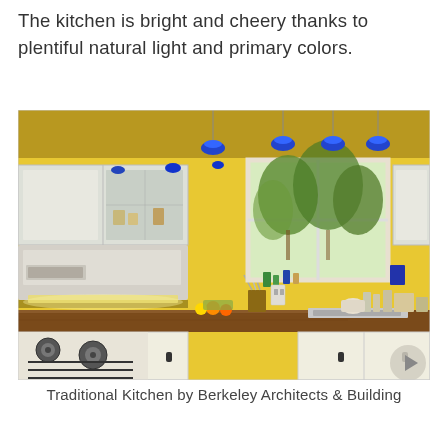The kitchen is bright and cheery thanks to plentiful natural light and primary colors.
[Figure (photo): A bright and cheery kitchen with yellow walls, white cabinets, wood countertops, a gas stove, blue pendant lights hanging from the ceiling, and a large window with a view of trees outside.]
Traditional Kitchen by Berkeley Architects & Building